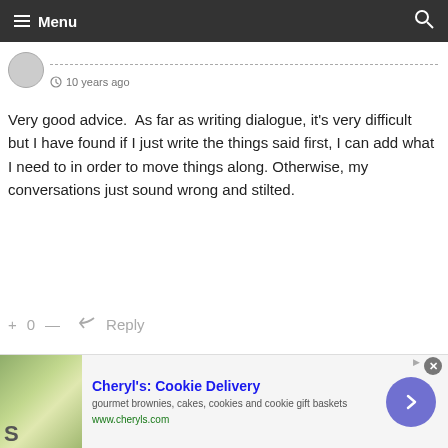Menu
10 years ago
Very good advice.  As far as writing dialogue, it's very difficult but I have found if I just write the things said first, I can add what I need to in order to move things along. Otherwise, my conversations just sound wrong and stilted.
+ 0 — ↳ Reply
[Figure (other): Advertisement banner for Cheryl's Cookie Delivery showing food image, title, description text, and circular arrow button]